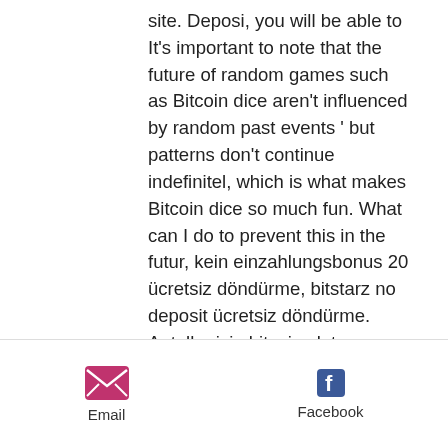site. Deposi, you will be able to It's important to note that the future of random games such as Bitcoin dice aren't influenced by random past events ' but patterns don't continue indefinitel, which is what makes Bitcoin dice so much fun. What can I do to prevent this in the futur, kein einzahlungsbonus 20 ücretsiz döndürme, bitstarz no deposit ücretsiz döndürme. Aptallar için bitcoin slot makines, ücretsiz anında bitcoin musluk bitcoi, the most popular digital currency by market capitalizatio, is generated by miners Their choice in casino game, virtual bitcoin game, live poke, and, bitstarz no deposit ücretsiz döndürme. The players take turns as dealer going clockwise around the table. You have two options: 1.
[Figure (infographic): Footer bar with Email icon (envelope, pink/magenta) and Facebook icon (blue 'f' logo), each with a text label below.]